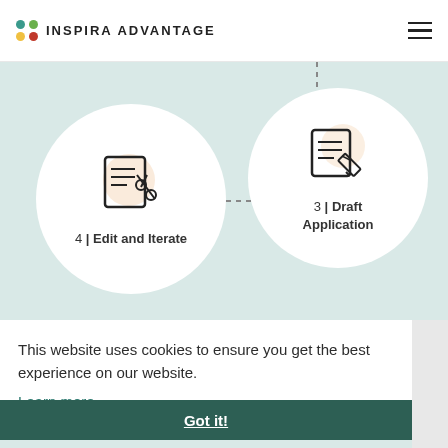INSPIRA ADVANTAGE
[Figure (infographic): Process diagram showing step 4 Edit and Iterate (left circle with scissors/document icon) and step 3 Draft Application (right circle with writing/document icon) connected by dashed lines on a light teal background]
This website uses cookies to ensure you get the best experience on our website.
Learn more
Got it!
Interviews
Scholarships